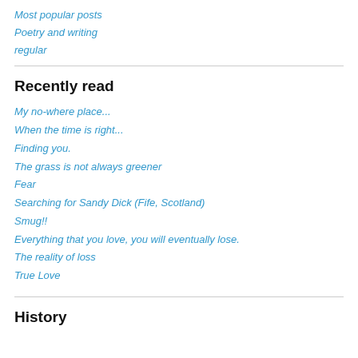Most popular posts
Poetry and writing
regular
Recently read
My no-where place...
When the time is right...
Finding you.
The grass is not always greener
Fear
Searching for Sandy Dick (Fife, Scotland)
Smug!!
Everything that you love, you will eventually lose.
The reality of loss
True Love
History